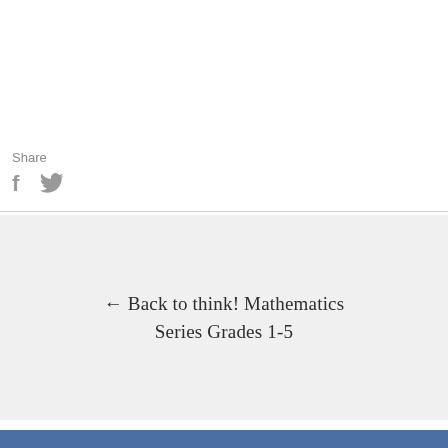Share
[Figure (illustration): Facebook and Twitter share icons in gray]
← Back to think! Mathematics Series Grades 1-5